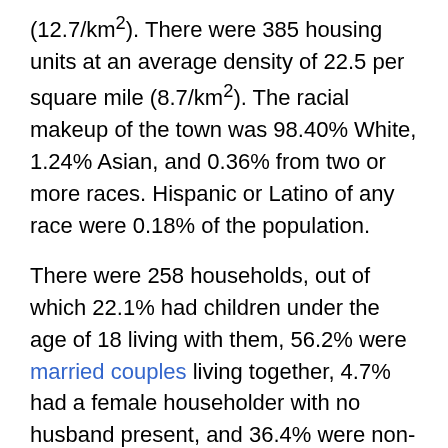(12.7/km²). There were 385 housing units at an average density of 22.5 per square mile (8.7/km²). The racial makeup of the town was 98.40% White, 1.24% Asian, and 0.36% from two or more races. Hispanic or Latino of any race were 0.18% of the population.
There were 258 households, out of which 22.1% had children under the age of 18 living with them, 56.2% were married couples living together, 4.7% had a female householder with no husband present, and 36.4% were non-families. 29.8% of all households were made up of individuals, and 12.0% had someone living alone who was 65 years of age or older. The average household size was 2.18 and the average family size was 2.72.
In the town, the population was spread out, with 18.1% under the age of 18, 5.3% from 18 to 24, 24.2% from 25 to 44, 33.7% from 45 to 64, and 18.7% who were 65 years of